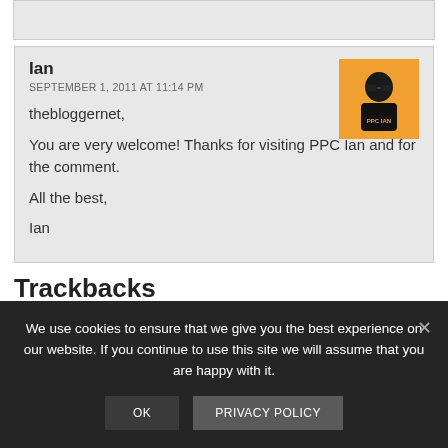Ian
SEPTEMBER 1, 2011 AT 11:14 PM
thebloggernet,
You are very welcome! Thanks for visiting PPC Ian and for the comment.
All the best,
Ian
[Figure (photo): Avatar photo of Ian wearing sunglasses and a black shirt with PPC IAN logo on orange background]
Trackbacks
PPC IAN'S NEW FEEDBURNER FEED | PPC IAN SAYS:
We use cookies to ensure that we give you the best experience on our website. If you continue to use this site we will assume that you are happy with it.
OK
PRIVACY POLICY